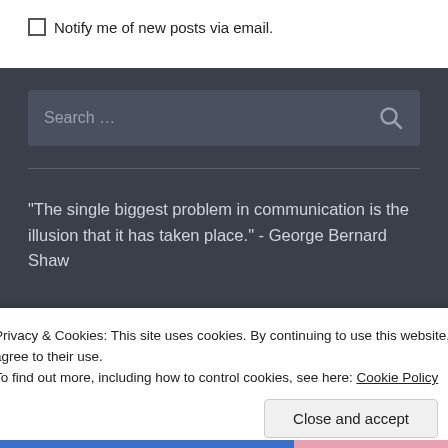Notify me of new posts via email.
Search ...
"The single biggest problem in communication is the illusion that it has taken place." - George Bernard Shaw
Privacy & Cookies: This site uses cookies. By continuing to use this website, you agree to their use.
To find out more, including how to control cookies, see here: Cookie Policy
Close and accept